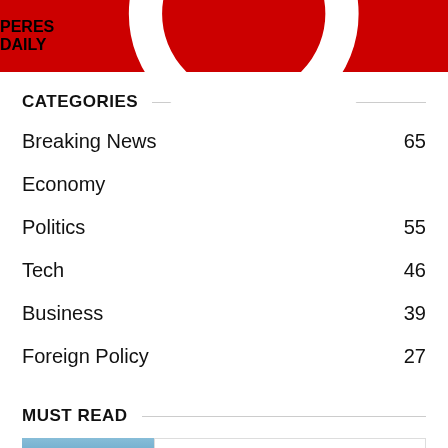PERES DAILY
CATEGORIES
Breaking News  65
Economy  57
Politics  55
Tech  46
Business  39
Foreign Policy  27
MUST READ
[Figure (photo): Photo of a building exterior against a blue sky, partially visible at page bottom]